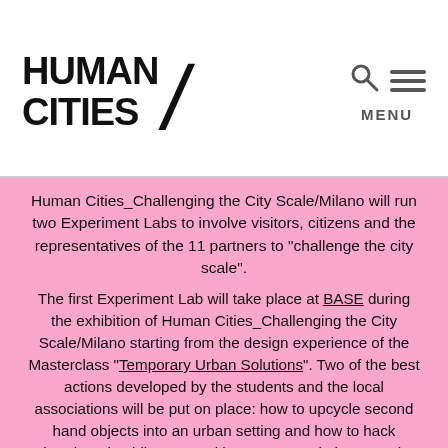HUMAN CITIES/
Human Cities_Challenging the City Scale/Milano will run two Experiment Labs to involve visitors, citizens and the representatives of the 11 partners to “challenge the city scale”.
The first Experiment Lab will take place at BASE during the exhibition of Human Cities_Challenging the City Scale/Milano starting from the design experience of the Masterclass “Temporary Urban Solutions”. Two of the best actions developed by the students and the local associations will be put on place: how to upcycle second hand objects into an urban setting and how to hack abandoned public space with acupunctural playgrounds.
The second Experiment Lab will take place @LaPiana. It will involve all the representative of the 11 partners in several activities in direct contact with the local associations and the